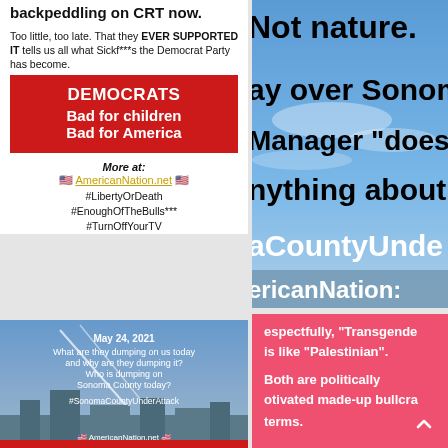backpeddling on CRT now.
Too little, too late. That they EVER SUPPORTED IT tells us all what Sickf***s the Democrat Party has become.
[Figure (infographic): Red banner with white bold text: DEMOCRATS Bad for children Bad for America]
More at:
🇺🇸 AmericanNation.net 🇺🇸
#LibertyOrDeath
#EnoughOfTheBulls***
#TurnOffYourTV
[Figure (infographic): Sky image with text overlay: May 24, 2021. What are they dumping on us today and why are they dumping it? Who is dumping on Sonoma County today? #SonomaCountyUnderAttack. AmericanNation.net]
[Figure (infographic): Right column sky/outdoor scene with large text: Not nature. ay over Sonom Manager does nything about aCountyUnde. ericanNation:]
[Figure (infographic): Pink/red background with text: espectfully, Transgender is like Palestinian. Both are politically motivated made-up bullcra terms.]